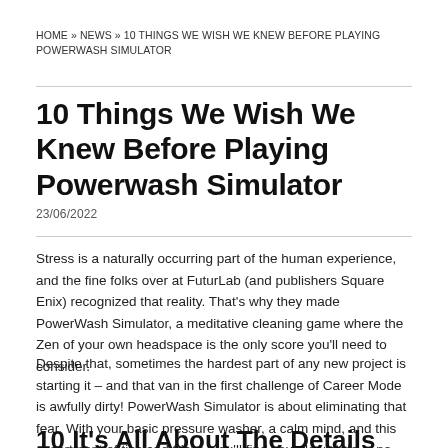HOME » NEWS » 10 THINGS WE WISH WE KNEW BEFORE PLAYING POWERWASH SIMULATOR
10 Things We Wish We Knew Before Playing Powerwash Simulator
23/06/2022
Stress is a naturally occurring part of the human experience, and the fine folks over at FuturLab (and publishers Square Enix) recognized that reality. That's why they made PowerWash Simulator, a meditative cleaning game where the Zen of your own headspace is the only score you'll need to consider.
Despite that, sometimes the hardest part of any new project is starting it – and that van in the first challenge of Career Mode is awfully dirty! PowerWash Simulator is about eliminating that fear. With your basic pressure washer, a calm mind, and this assortment of tips and tricks, you'll find your flow state in no time.
10 It's All About The Details